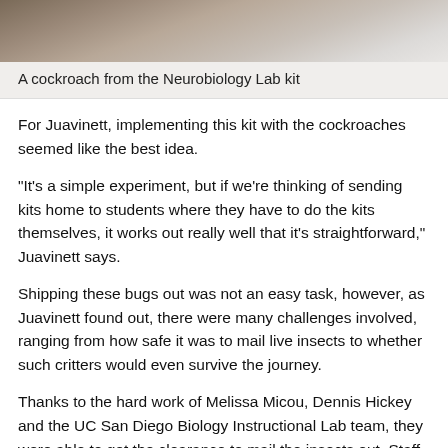[Figure (photo): Close-up photo of a cockroach from the Neurobiology Lab kit, showing the insect against a light background.]
A cockroach from the Neurobiology Lab kit
For Juavinett, implementing this kit with the cockroaches seemed like the best idea.
"It's a simple experiment, but if we're thinking of sending kits home to students where they have to do the kits themselves, it works out really well that it's straightforward," Juavinett says.
Shipping these bugs out was not an easy task, however, as Juavinett found out, there were many challenges involved, ranging from how safe it was to mail live insects to whether such critters would even survive the journey.
Thanks to the hard work of Melissa Micou, Dennis Hickey and the UC San Diego Biology Instructional Lab team, they were able to get the clearance to mail the insects out. Staff Research Associate Brandon Chechile helped pack the